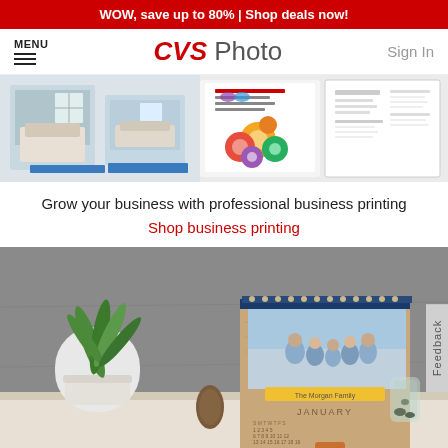WOW, save up to 80% | Shop deals now!
MENU | CVS Photo | Sign In
[Figure (photo): Product strip showing business printing samples: canvas print, postcard flyer with colorful donuts, and a resume/document]
Grow your business with professional business printing
Shop business printing
[Figure (photo): Photo of a custom desktop calendar with family photo (The Morgan Family, January) displayed on wooden stand, with plant and decorative items on a rustic table. Feedback tab on right edge.]